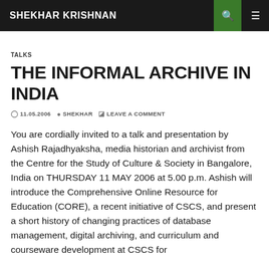SHEKHAR KRISHNAN
TALKS
THE INFORMAL ARCHIVE IN INDIA
11.05.2006   SHEKHAR   LEAVE A COMMENT
You are cordially invited to a talk and presentation by Ashish Rajadhyaksha, media historian and archivist from the Centre for the Study of Culture & Society in Bangalore, India on THURSDAY 11 MAY 2006 at 5.00 p.m. Ashish will introduce the Comprehensive Online Resource for Education (CORE), a recent initiative of CSCS, and present a short history of changing practices of database management, digital archiving, and curriculum and courseware development at CSCS for